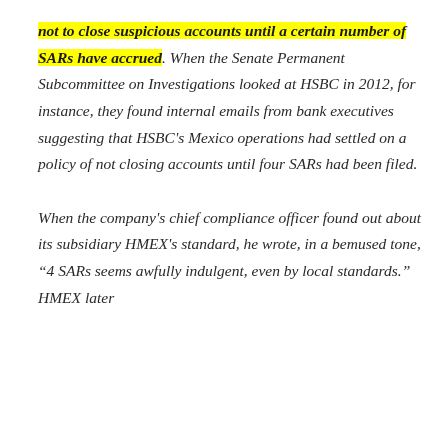not to close suspicious accounts until a certain number of SARs have accrued. When the Senate Permanent Subcommittee on Investigations looked at HSBC in 2012, for instance, they found internal emails from bank executives suggesting that HSBC's Mexico operations had settled on a policy of not closing accounts until four SARs had been filed.

When the company's chief compliance officer found out about its subsidiary HMEX's standard, he wrote, in a bemused tone, "4 SARs seems awfully indulgent, even by local standards." HMEX later